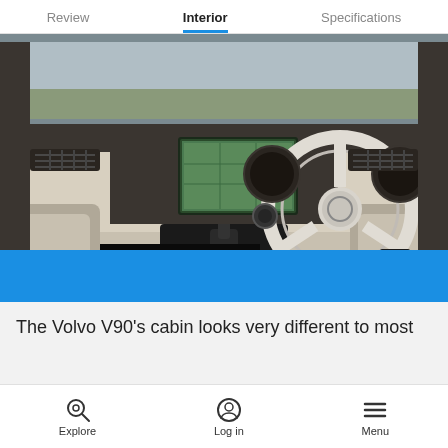Review   Interior   Specifications
[Figure (photo): Interior photo of a Volvo V90 showing dashboard, steering wheel, center console, infotainment screen, and light-colored leather seats from driver's perspective (right-hand drive)]
The Volvo V90's cabin looks very different to most
Explore   Log in   Menu